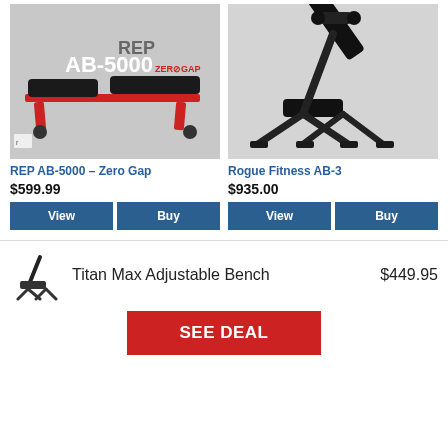[Figure (photo): REP AB-5000 Zero Gap adjustable bench, red frame with black padding, shown flat]
[Figure (photo): Rogue Fitness AB-3 adjustable bench, all black, shown at incline angle]
REP AB-5000 – Zero Gap
$599.99
Rogue Fitness AB-3
$935.00
[Figure (photo): Small icon of Titan Max Adjustable Bench shown at incline]
Titan Max Adjustable Bench
$449.95
SEE DEAL